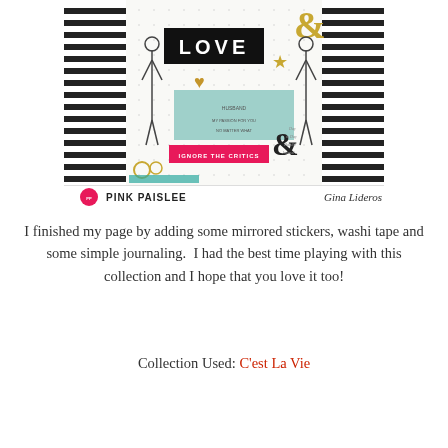[Figure (photo): A scrapbook layout photo branded with 'PINK PAISLEE' and 'Gina Lideros'. The layout features black and white striped patterned paper, a 'LOVE' label, ampersand embellishments in gold, fashion illustration stickers, washi tape, a 'IGNORE THE CRITICS' pink label, a teal/mint journaling card, and handwritten journaling.]
I finished my page by adding some mirrored stickers, washi tape and some simple journaling.  I had the best time playing with this collection and I hope that you love it too!
Collection Used: C'est La Vie